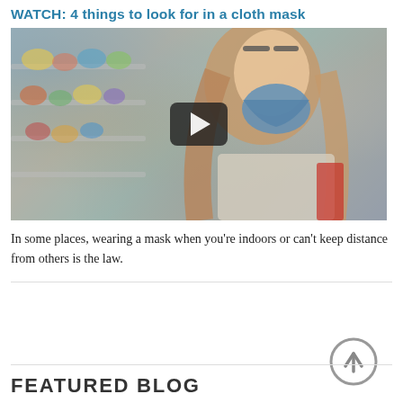WATCH: 4 things to look for in a cloth mask
[Figure (photo): Video thumbnail showing a woman wearing a blue cloth face mask in a store aisle, with a play button overlay in the center]
In some places, wearing a mask when you're indoors or can't keep distance from others is the law.
FEATURED BLOG